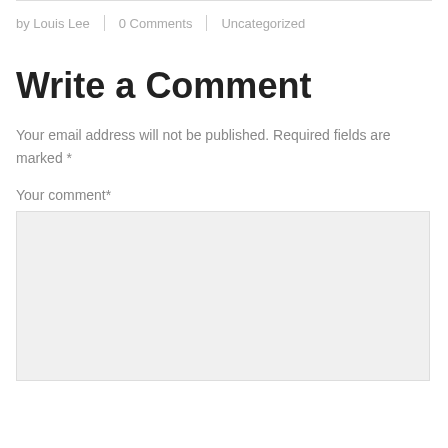by Louis Lee | 0 Comments | Uncategorized
Write a Comment
Your email address will not be published. Required fields are marked *
Your comment*